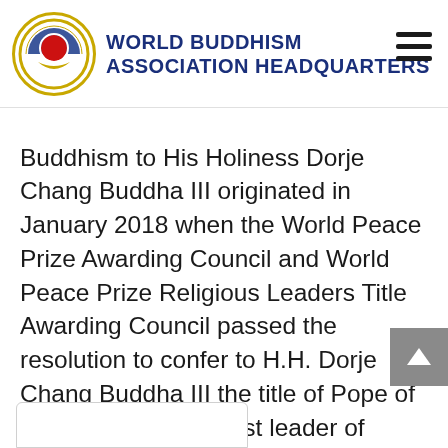WORLD BUDDHISM ASSOCIATION HEADQUARTERS
Buddhism to His Holiness Dorje Chang Buddha III originated in January 2018 when the World Peace Prize Awarding Council and World Peace Prize Religious Leaders Title Awarding Council passed the resolution to confer to H.H. Dorje Chang Buddha III the title of Pope of Buddhism, the highest leader of Buddhism in this world. However, His Holiness the Buddha refused to accept the conferment…